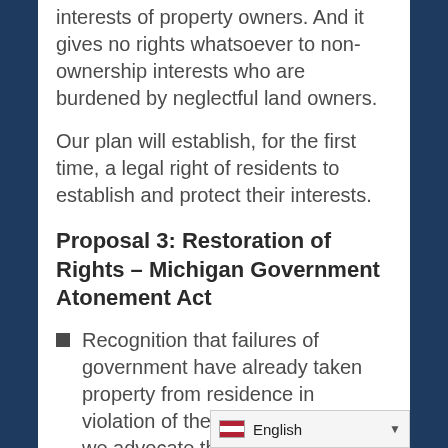interests of property owners. And it gives no rights whatsoever to non-ownership interests who are burdened by neglectful land owners.
Our plan will establish, for the first time, a legal right of residents to establish and protect their interests.
Proposal 3: Restoration of Rights – Michigan Government Atonement Act
Recognition that failures of government have already taken property from residence in violation of their natural liberty – we advocate that displaced home owners are